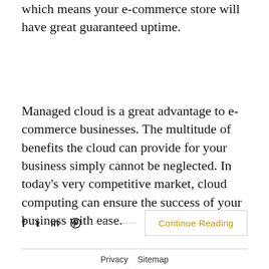which means your e-commerce store will have great guaranteed uptime.
Managed cloud is a great advantage to e-commerce businesses. The multitude of benefits the cloud can provide for your business simply cannot be neglected. In today's very competitive market, cloud computing can ensure the success of your business with ease.
f  t  in  ⓟ  ——————  Continue Reading
Privacy   Sitemap